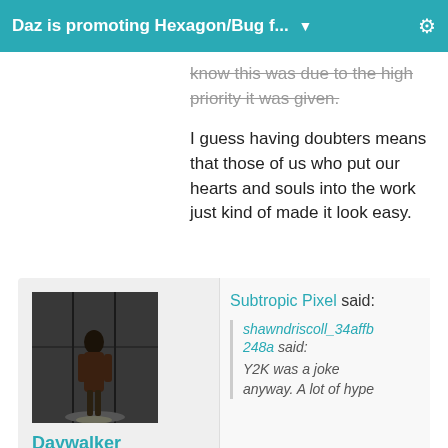Daz is promoting Hexagon/Bug f... ▼
know this was due to the high priority it was given.

I guess having doubters means that those of us who put our hearts and souls into the work just kind of made it look easy.
[Figure (photo): Avatar photo of a dark figure in a dimly lit room]
Daywalker Designs
Posts: 3,443
November 2017
Subtropic Pixel said:
shawndriscoll_34affb248a said:
Y2K was a joke anyway. A lot of hype